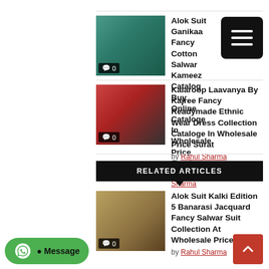[Figure (photo): Thumbnail image of a teal/green salwar kameez with comment badge showing 0]
Alok Suit Ganikaa Fancy Cotton Salwar Kameez Catalog Buy Online Cataloge In Wholesale Price Surat
by Rahul Sharma
[Figure (photo): Thumbnail image of a red and black ethnic wear dress with comment badge showing 0]
Kalaroop Laavanya By Kajree Fancy Readymade Ethnic Wear Dress Collection Cataloge In Wholesale Price Surat
by Rahul Sharma
RELATED ARTICLES
[Figure (photo): Thumbnail image of a gold/green banarasi salwar suit with comment badge showing 0]
Alok Suit Kalki Edition 5 Banarasi Jacquard Fancy Salwar Suit Collection At Wholesale Price Surat
by Rahul Sharma